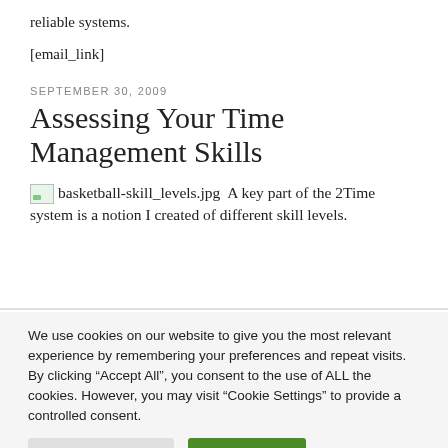reliable systems.
[email_link]
SEPTEMBER 30, 2009
Assessing Your Time Management Skills
[basketball-skill_levels.jpg]  A key part of the 2Time system is a notion I created of different skill levels.
We use cookies on our website to give you the most relevant experience by remembering your preferences and repeat visits. By clicking “Accept All”, you consent to the use of ALL the cookies. However, you may visit “Cookie Settings” to provide a controlled consent.